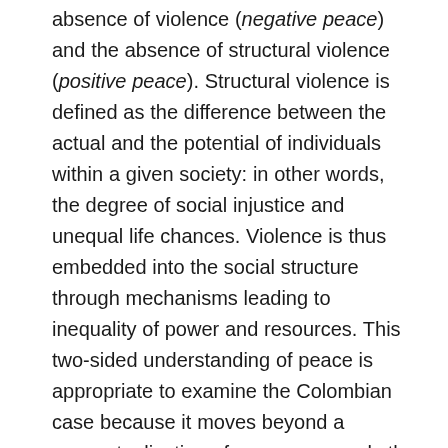absence of violence (negative peace) and the absence of structural violence (positive peace). Structural violence is defined as the difference between the actual and the potential of individuals within a given society: in other words, the degree of social injustice and unequal life chances. Violence is thus embedded into the social structure through mechanisms leading to inequality of power and resources. This two-sided understanding of peace is appropriate to examine the Colombian case because it moves beyond a conceptualization of peace as merely the absence of armed fighting, granting visibility to 'hidden' systems and mechanisms at work in the socio-economic spheres of the Colombian state. Significantly, this extended understanding of peace allows for a greater range of actors to be held accountable for ensuring peace – in a positive and negative dimension – is sustained in Colombia. Too often, stability and order are mistaken for peace. This essay suggests this narrow understanding of